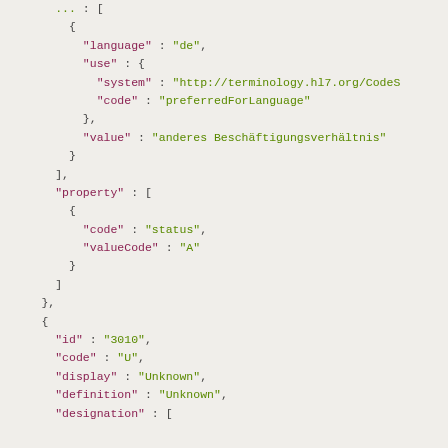JSON code block showing FHIR terminology data with language, use, system, code, value, property fields and a new entry with id 3010